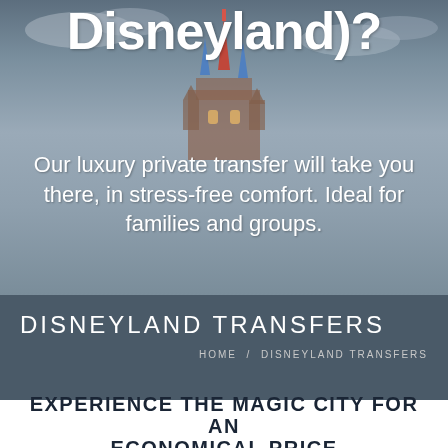Disneyland)?
Our luxury private transfer will take you there, in stress-free comfort. Ideal for families and groups.
[Figure (photo): Disneyland castle spires visible against a cloudy grey sky, serving as hero background image]
DISNEYLAND TRANSFERS
HOME / DISNEYLAND TRANSFERS
EXPERIENCE THE MAGIC CITY FOR AN ECONOMICAL PRICE